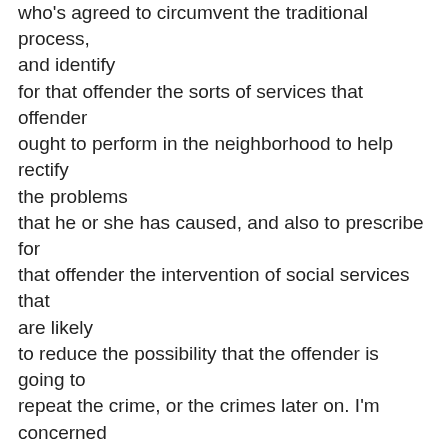who's agreed to circumvent the traditional process, and identify for that offender the sorts of services that offender ought to perform in the neighborhood to help rectify the problems that he or she has caused, and also to prescribe for that offender the intervention of social services that are likely to reduce the possibility that the offender is going to repeat the crime, or the crimes later on. I'm concerned about particular classes of problems. I've assigned somebody to be in charge of school safety-related issues in my office, and I'm looking for the best ideas around the country for how we can create, in Los Angeles, a robust sense of safety in and around school sites. It's essential because, among other reasons, we want